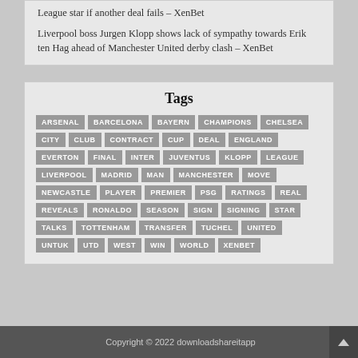League star if another deal fails – XenBet
Liverpool boss Jurgen Klopp shows lack of sympathy towards Erik ten Hag ahead of Manchester United derby clash – XenBet
Tags
ARSENAL
BARCELONA
BAYERN
CHAMPIONS
CHELSEA
CITY
CLUB
CONTRACT
CUP
DEAL
ENGLAND
EVERTON
FINAL
INTER
JUVENTUS
KLOPP
LEAGUE
LIVERPOOL
MADRID
MAN
MANCHESTER
MOVE
NEWCASTLE
PLAYER
PREMIER
PSG
RATINGS
REAL
REVEALS
RONALDO
SEASON
SIGN
SIGNING
STAR
TALKS
TOTTENHAM
TRANSFER
TUCHEL
UNITED
UNTUK
UTD
WEST
WIN
WORLD
XENBET
Copyright © 2022 downloadshareitapp